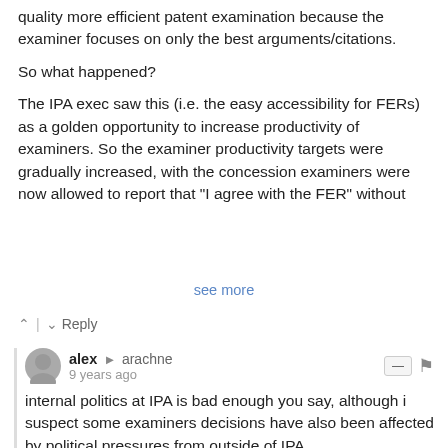quality more efficient patent examination because the examiner focuses on only the best arguments/citations.
So what happened?
The IPA exec saw this (i.e. the easy accessibility for FERs) as a golden opportunity to increase productivity of examiners. So the examiner productivity targets were gradually increased, with the concession examiners were now allowed to report that "I agree with the FER" without...
see more
^ | v  Reply
alex → arachne
9 years ago
internal politics at IPA is bad enough you say, although i suspect some examiners decisions have also been affected by political pressures from outside of IPA.
^ | v  Reply
alex → arachne
9 years ago